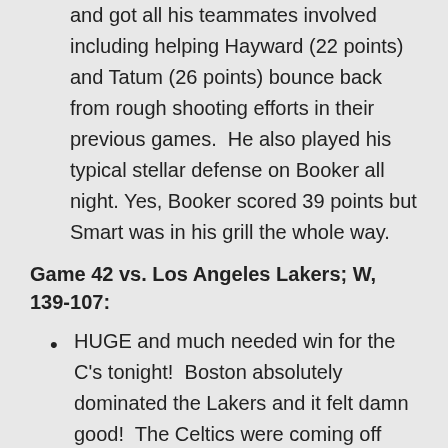and got all his teammates involved including helping Hayward (22 points) and Tatum (26 points) bounce back from rough shooting efforts in their previous games. He also played his typical stellar defense on Booker all night. Yes, Booker scored 39 points but Smart was in his grill the whole way.
Game 42 vs. Los Angeles Lakers; W, 139-107:
HUGE and much needed win for the C's tonight! Boston absolutely dominated the Lakers and it felt damn good! The Celtics were coming off three straight L's and have dropped in the standings so this win was very much needed. The Lakers came out the